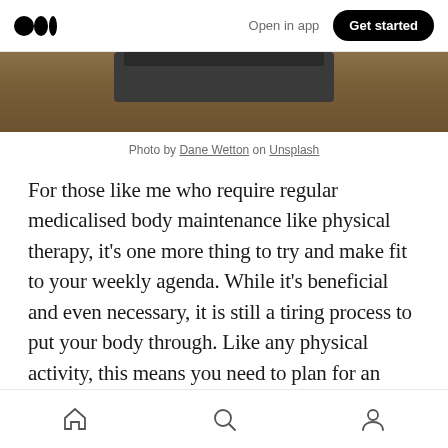Open in app  Get started
[Figure (photo): Partial photo of a tablet or laptop device on a wooden surface, cropped at top of page]
Photo by Dane Wetton on Unsplash
For those like me who require regular medicalised body maintenance like physical therapy, it's one more thing to try and make fit to your weekly agenda. While it's beneficial and even necessary, it is still a tiring process to put your body through. Like any physical activity, this means you need to plan for an opportunity and time to recover straight after the fact.
Home  Search  Profile